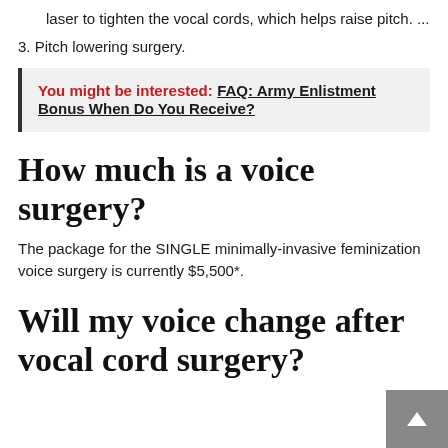laser to tighten the vocal cords, which helps raise pitch. ...
3. Pitch lowering surgery.
You might be interested:  FAQ: Army Enlistment Bonus When Do You Receive?
How much is a voice surgery?
The package for the SINGLE minimally-invasive feminization voice surgery is currently $5,500*.
Will my voice change after vocal cord surgery?